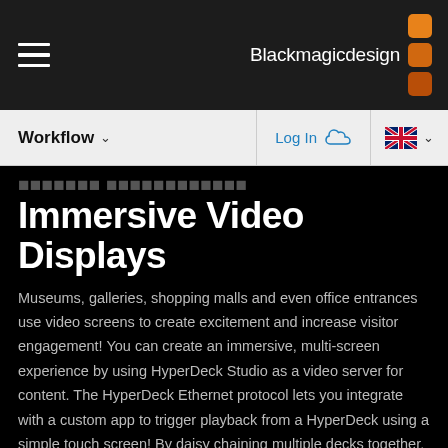[Figure (logo): Blackmagic Design logo with text and three orange/brown square dots on the right in the top dark navigation bar]
Workflow ∨   Log In   🇬🇧 ∨
Immersive Video Displays
Museums, galleries, shopping malls and even office entrances use video screens to create excitement and increase visitor engagement! You can create an immersive, multi-screen experience by using HyperDeck Studio as a video server for content. The HyperDeck Ethernet protocol lets you integrate with a custom app to trigger playback from a HyperDeck using a simple touch screen! By daisy chaining multiple decks together, you can create massive LED video walls, or wrap the screens